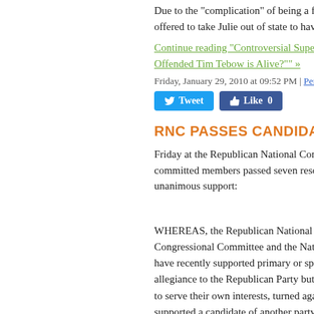Due to the "complication" of being a few... offered to take Julie out of state to have
Continue reading "Controversial Super B... Offended Tim Tebow is Alive?"" »
Friday, January 29, 2010 at 09:52 PM | Permalink | C
[Figure (other): Social media buttons: Tweet and Like 0]
RNC PASSES CANDIDATE SUR
Friday at the Republican National Comm... committed members passed seven resol... unanimous support:
RESOLUTION CONCERNING PA
WHEREAS, the Republican National Co... Congressional Committee and the Natio... have recently supported primary or spec... allegiance to the Republican Party but w... to serve their own interests, turned again... supported a candidate of another party;
WHEREAS, many Republican leaders a... undermined and lost credibility as a resu